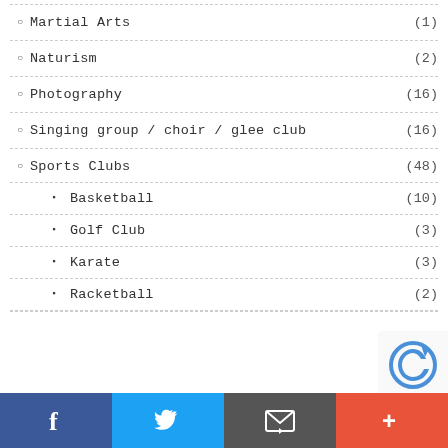Martial Arts (1)
Naturism (2)
Photography (16)
Singing group / choir / glee club (16)
Sports Clubs (48)
Basketball (10)
Golf Club (3)
Karate (3)
Racketball (2)
Facebook Twitter Email +